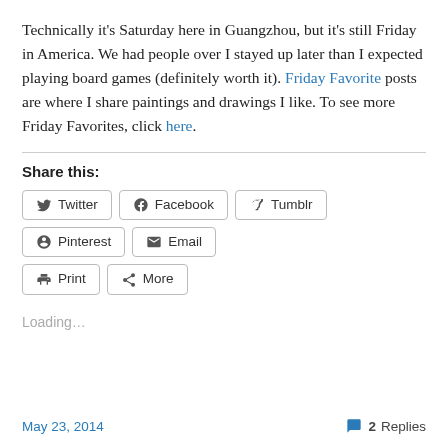Technically it's Saturday here in Guangzhou, but it's still Friday in America. We had people over I stayed up later than I expected playing board games (definitely worth it). Friday Favorite posts are where I share paintings and drawings I like. To see more Friday Favorites, click here.
Share this:
Twitter  Facebook  Tumblr  Pinterest  Email  Print  More
Loading...
May 23, 2014   2 Replies